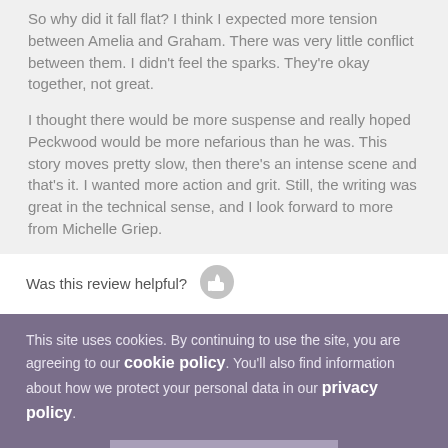So why did it fall flat? I think I expected more tension between Amelia and Graham. There was very little conflict between them. I didn't feel the sparks. They're okay together, not great.
I thought there would be more suspense and really hoped Peckwood would be more nefarious than he was. This story moves pretty slow, then there's an intense scene and that's it. I wanted more action and grit. Still, the writing was great in the technical sense, and I look forward to more from Michelle Griep.
Was this review helpful?
This site uses cookies. By continuing to use the site, you are agreeing to our cookie policy. You'll also find information about how we protect your personal data in our privacy policy.
I agree